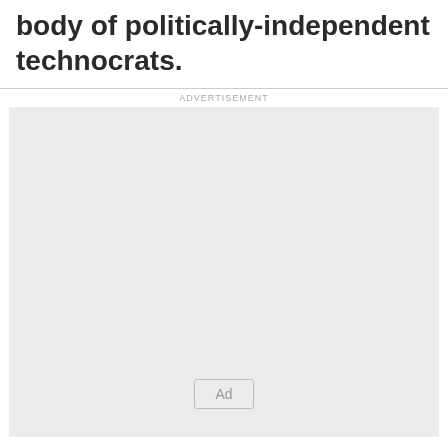body of politically-independent technocrats.
[Figure (other): Advertisement placeholder box with 'Ad' button label, light gray background, labeled ADVERTISEMENT above a horizontal rule.]